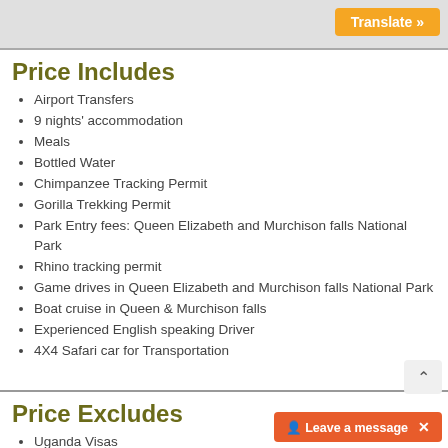Translate »
Price Includes
Airport Transfers
9 nights' accommodation
Meals
Bottled Water
Chimpanzee Tracking Permit
Gorilla Trekking Permit
Park Entry fees: Queen Elizabeth and Murchison falls National Park
Rhino tracking permit
Game drives in Queen Elizabeth and Murchison falls National Park
Boat cruise in Queen & Murchison falls
Experienced English speaking Driver
4X4 Safari car for Transportation
Price Excludes
Uganda Visas